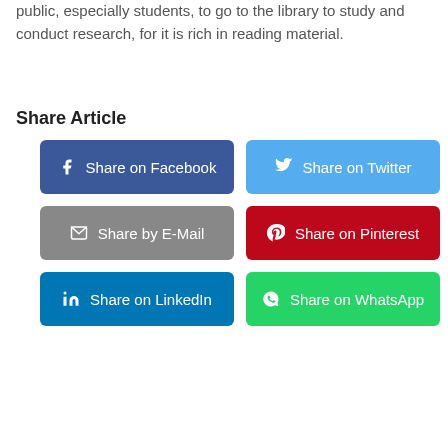public, especially students, to go to the library to study and conduct research, for it is rich in reading material.
Share Article
Share on Facebook
Share on Twitter
Share by E-Mail
Share on Pinterest
Share on LinkedIn
Share on WhatsApp